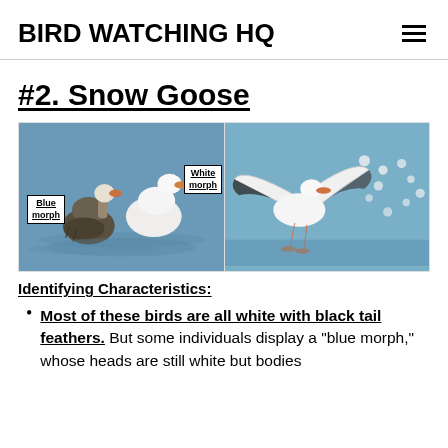BIRD WATCHING HQ
#2. Snow Goose
[Figure (photo): Two photos side by side: left shows a blue morph and white morph Snow Goose swimming on water; right shows a Snow Goose landing with wings spread among a flock.]
Identifying Characteristics:
Most of these birds are all white with black tail feathers. But some individuals display a "blue morph," whose heads are still white but bodies